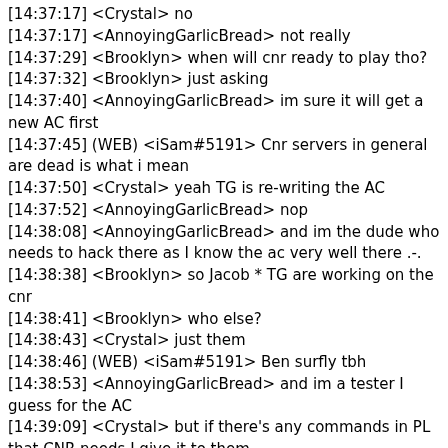[14:37:17] <Crystal> no
[14:37:17] <AnnoyingGarlicBread> not really
[14:37:29] <Brooklyn> when will cnr ready to play tho?
[14:37:32] <Brooklyn> just asking
[14:37:40] <AnnoyingGarlicBread> im sure it will get a new AC first
[14:37:45] (WEB) <iSam#5191> Cnr servers in general are dead is what i mean
[14:37:50] <Crystal> yeah TG is re-writing the AC
[14:37:52] <AnnoyingGarlicBread> nop
[14:38:08] <AnnoyingGarlicBread> and im the dude who needs to hack there as I know the ac very well there .-.
[14:38:38] <Brooklyn> so Jacob * TG are working on the cnr
[14:38:41] <Brooklyn> who else?
[14:38:43] <Crystal> just them
[14:38:46] (WEB) <iSam#5191> Ben surfly tbh
[14:38:53] <AnnoyingGarlicBread> and im a tester I guess for the AC
[14:39:09] <Crystal> but if there's any commands in PL that CNR needs I give it to them
[14:39:14] <Crystal> since CNR is a side project of PL
[14:39:14] (WEB) <iSam#5191> I'll join cnr as soon as it releases
[14:39:19] <Crystal> same host, same funding
[14:39:29] (WEB) <iSam#5191> When is it coming out?
[14:39:29] <AnnoyingGarlicBread> also add /cage here :smirk:
[14:39:29] <Crystal> ...